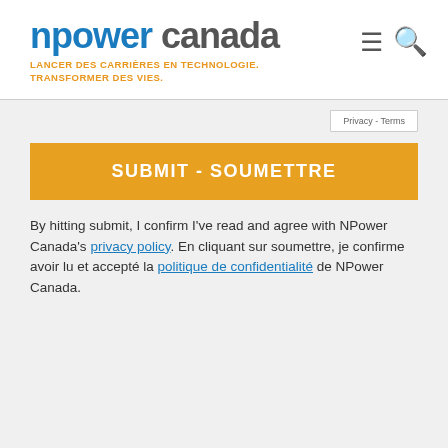[Figure (logo): NPower Canada logo with tagline 'LANCER DES CARRIÈRES EN TECHNOLOGIE. TRANSFORMER DES VIES.' in orange]
Privacy - Terms
SUBMIT - SOUMETTRE
By hitting submit, I confirm I've read and agree with NPower Canada's privacy policy. En cliquant sur soumettre, je confirme avoir lu et accepté la politique de confidentialité de NPower Canada.